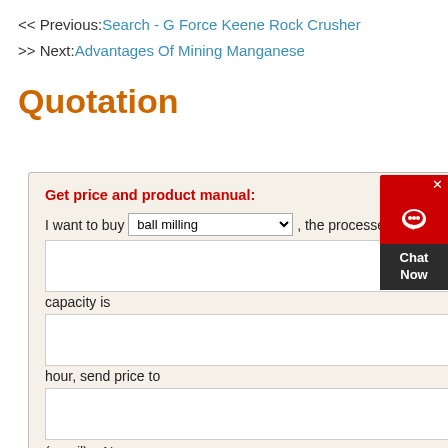<< Previous: Search - G Force Keene Rock Crusher
>> Next: Advantages Of Mining Manganese
Quotation
Get price and product manual:
I want to buy [ball milling dropdown], the processed material is [text area], the capacity is [text area] ton an hour, send price to [text area] (email). Name: [text area] Phone: [text area]